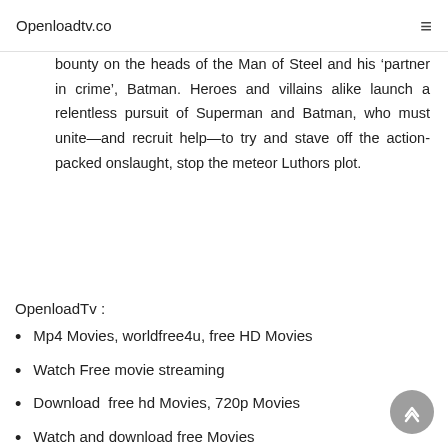Openloadtv.co
bounty on the heads of the Man of Steel and his ‘partner in crime’, Batman. Heroes and villains alike launch a relentless pursuit of Superman and Batman, who must unite—and recruit help—to try and stave off the action-packed onslaught, stop the meteor Luthors plot.
OpenloadTv :
Mp4 Movies, worldfree4u, free HD Movies
Watch Free movie streaming
Download  free hd Movies, 720p Movies
Watch and download free Movies